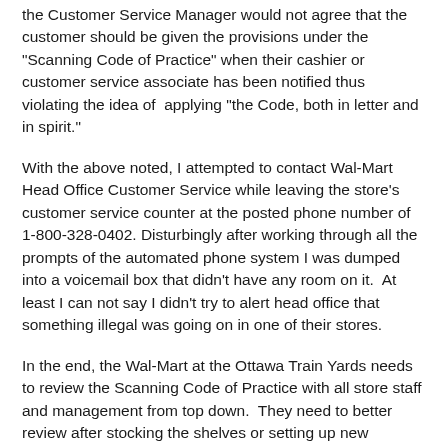the Customer Service Manager would not agree that the customer should be given the provisions under the "Scanning Code of Practice" when their cashier or customer service associate has been notified thus violating the idea of applying "the Code, both in letter and in spirit."
With the above noted, I attempted to contact Wal-Mart Head Office Customer Service while leaving the store's customer service counter at the posted phone number of 1-800-328-0402. Disturbingly after working through all the prompts of the automated phone system I was dumped into a voicemail box that didn't have any room on it.  At least I can not say I didn't try to alert head office that something illegal was going on in one of their stores.
In the end, the Wal-Mart at the Ottawa Train Yards needs to review the Scanning Code of Practice with all store staff and management from top down.  They need to better review after stocking the shelves or setting up new displays that items are scanning correctly in the system.  As well, the store needs to implement a price auditing system where departments are scanning to ensure products within their